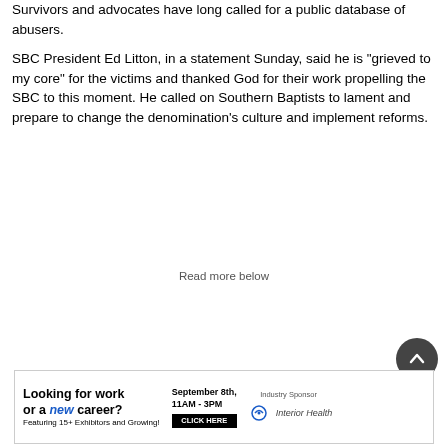Survivors and advocates have long called for a public database of abusers.
SBC President Ed Litton, in a statement Sunday, said he is “grieved to my core” for the victims and thanked God for their work propelling the SBC to this moment. He called on Southern Baptists to lament and prepare to change the denomination’s culture and implement reforms.
Read more below
[Figure (screenshot): Advertisement banner: Looking for work or a new career? September 8th, 11AM - 3PM. Featuring 15+ Exhibitors and Growing! CLICK HERE. Industry Sponsor: Interior Health logo.]